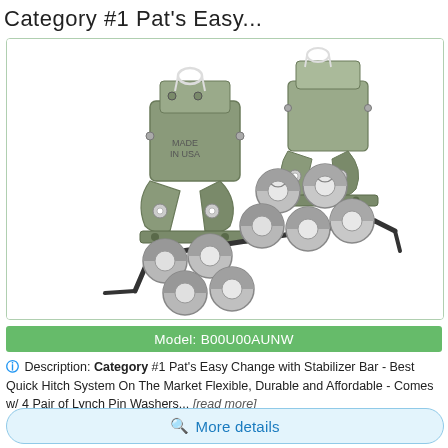Category #1 Pat's Easy...
[Figure (photo): Product photo of Pat's Easy Change with Stabilizer Bar quick hitch system — two grey metal hitch couplers, a stabilizer bar, and multiple Lynch pin washers arranged on white background]
Model: B00U00AUNW
Description: Category #1 Pat's Easy Change with Stabilizer Bar - Best Quick Hitch System On The Market Flexible, Durable and Affordable - Comes w/ 4 Pair of Lynch Pin Washers... [read more]
More details